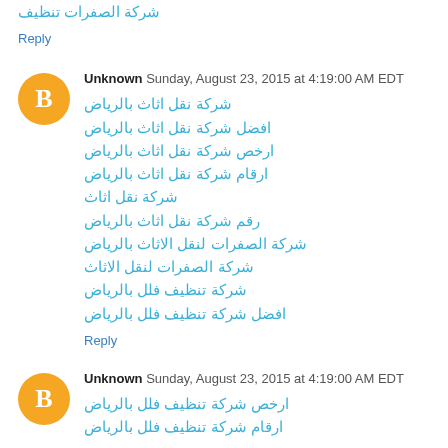شركة الصفرات تنظيف
Reply
Unknown  Sunday, August 23, 2015 at 4:19:00 AM EDT
شركة نقل اثاث بالرياض
افضل شركة نقل اثاث بالرياض
ارخص شركة نقل اثاث بالرياض
ارقام شركة نقل اثاث بالرياض
شركة نقل اثاث
رقم شركة نقل اثاث بالرياض
شركة الصفرات لنقل الاثاث بالرياض
شركة الصفرات لنقل الاثاث
شركة تنظيف فلل بالرياض
افضل شركة تنظيف فلل بالرياض
Reply
Unknown  Sunday, August 23, 2015 at 4:19:00 AM EDT
ارخص شركة تنظيف فلل بالرياض
ارقام شركة تنظيف فلل بالرياض